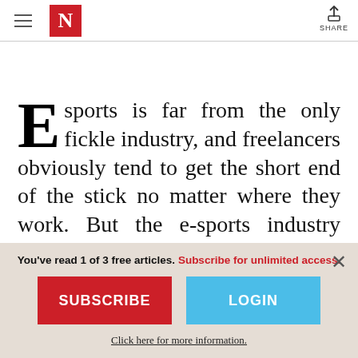N — SHARE
Esports is far from the only fickle industry, and freelancers obviously tend to get the short end of the stick no matter where they work. But the e-sports industry currently benefits from a deep pool of young
You've read 1 of 3 free articles. Subscribe for unlimited access.
SUBSCRIBE
LOGIN
Click here for more information.